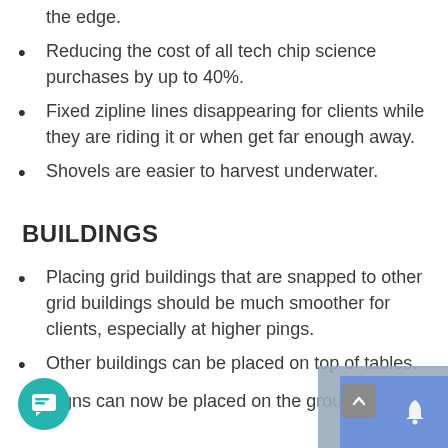the edge.
Reducing the cost of all tech chip science purchases by up to 40%.
Fixed zipline lines disappearing for clients while they are riding it or when get far enough away.
Shovels are easier to harvest underwater.
BUILDINGS
Placing grid buildings that are snapped to other grid buildings should be much smoother for clients, especially at higher pings.
Other buildings can be placed on top of tables.
Signs can now be placed on the ground in